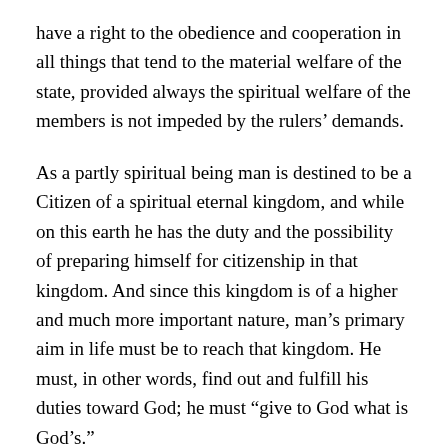have a right to the obedience and cooperation in all things that tend to the material welfare of the state, provided always the spiritual welfare of the members is not impeded by the rulers' demands.
As a partly spiritual being man is destined to be a Citizen of a spiritual eternal kingdom, and while on this earth he has the duty and the possibility of preparing himself for citizenship in that kingdom. And since this kingdom is of a higher and much more important nature, man's primary aim in life must be to reach that kingdom. He must, in other words, find out and fulfill his duties toward God; he must “give to God what is God’s.”
This dual citizenship of man and the dual obligations that